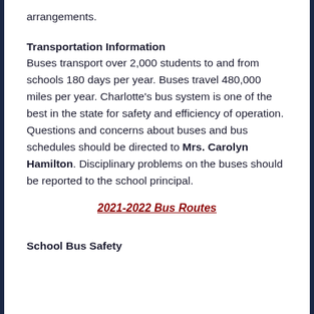arrangements.
Transportation Information
Buses transport over 2,000 students to and from schools 180 days per year. Buses travel 480,000 miles per year. Charlotte's bus system is one of the best in the state for safety and efficiency of operation. Questions and concerns about buses and bus schedules should be directed to Mrs. Carolyn Hamilton. Disciplinary problems on the buses should be reported to the school principal.
2021-2022 Bus Routes
School Bus Safety